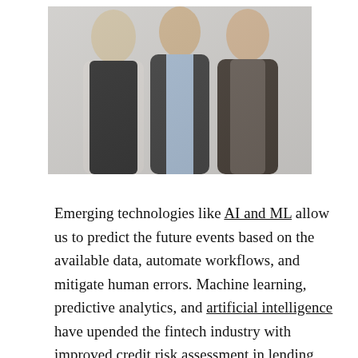[Figure (photo): Three men in business attire standing together against a light grey background for a professional photo.]
Emerging technologies like AI and ML allow us to predict the future events based on the available data, automate workflows, and mitigate human errors. Machine learning, predictive analytics, and artificial intelligence have upended the fintech industry with improved credit risk assessment in lending